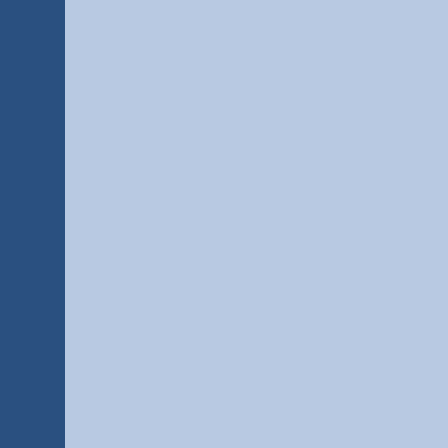[Figure (screenshot): Blue teal image/screenshot panel at top of left column]
Ulrich: Because you cheated as usual!

Aelita (to herself): For you, Daddy…

Aelita: Don't you wanna see what the ne-
Jeremy: Ohhh…I feel like I'm going to re-

Jeremy: Base lab to Skid, do you read m-
Aelita: Skid to base lab!

Jeremy: Aelita! I don't know why, but I jus-
Aelita: Jeremy, the navigation system do-
Jeremy (crushing the can again): This ca-
floating on the network until you use up a-
Yumi: And then what?
Jeremy: Once the virtual energy is exhau-
Aelita: Eternal virtualisation…like my fath-
Ulrich: Oh that's just great…
Odd: By the way, Einstein, I hope you've-

Odd: Oh that's cool, Einstein. You couldn-
Jeremy: Hey, I wasn't the one who insisto-

Jeremy: Whatever you do, don't move fre-
Odd: Very funny!

Jeremy: I need to get something from my-
Jim: Oh no you don't! You were all warne-

Jim (to the firefighters): Did I ever tell you-

Jeremy (talking about the teachers poste-
Fort Knox?!

Yumi: Aelita, you think that's Lyoko?
Aelita: I don't know, but whatever it is, its-

( Jeremy climbs onto the roof to reach his-